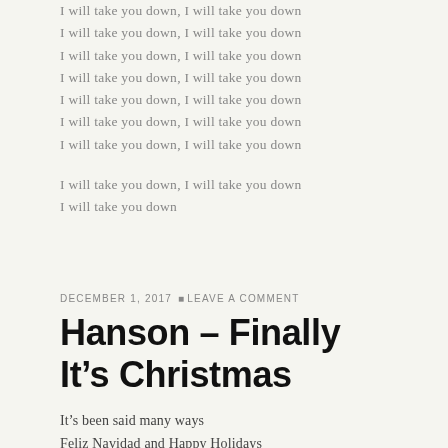I will take you down, I will take you down
I will take you down, I will take you down
I will take you down, I will take you down
I will take you down, I will take you down
I will take you down, I will take you down
I will take you down, I will take you down
I will take you down, I will take you down
I will take you down, I will take you down
I will take you down
DECEMBER 1, 2017 • LEAVE A COMMENT
Hanson – Finally It's Christmas
It's been said many ways
Feliz Navidad and Happy Holidays
Don't matter if you're nine or ninety-eight
Everyone's waiting for the chance to say